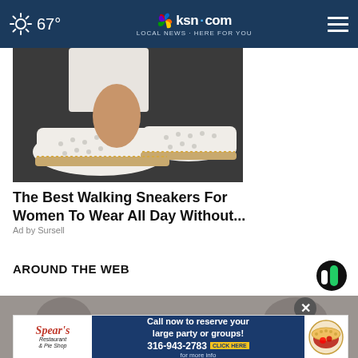67° | ksn.com LOCAL NEWS · HERE FOR YOU
[Figure (photo): Close-up photo of white women's walking sneakers with tan/gold sole detailing worn on dark pavement]
The Best Walking Sneakers For Women To Wear All Day Without...
Ad by Sursell
AROUND THE WEB
[Figure (photo): Partial background image below AROUND THE WEB section showing blurred figures]
[Figure (other): Spear's Restaurant & Pie Shop advertisement banner: 'Call now to reserve your large party or groups! 316-943-2783 CLICK HERE for more info']